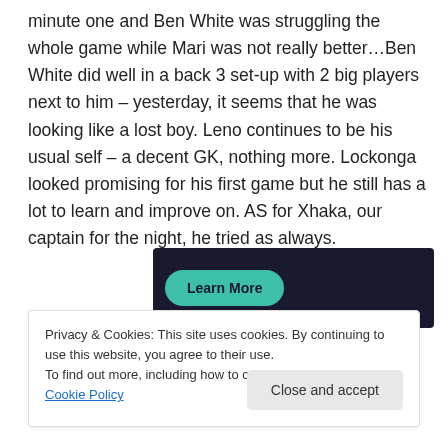minute one and Ben White was struggling the whole game while Mari was not really better…Ben White did well in a back 3 set-up with 2 big players next to him – yesterday, it seems that he was looking like a lost boy. Leno continues to be his usual self – a decent GK, nothing more. Lockonga looked promising for his first game but he still has a lot to learn and improve on. AS for Xhaka, our captain for the night, he tried as always.
[Figure (other): Dark banner advertisement with a teal 'Learn More' button]
Privacy & Cookies: This site uses cookies. By continuing to use this website, you agree to their use.
To find out more, including how to control cookies, see here: Cookie Policy
Close and accept